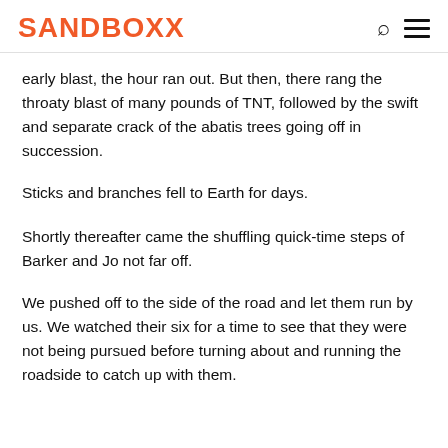SANDBOXX
early blast, the hour ran out. But then, there rang the throaty blast of many pounds of TNT, followed by the swift and separate crack of the abatis trees going off in succession.
Sticks and branches fell to Earth for days.
Shortly thereafter came the shuffling quick-time steps of Barker and Jo not far off.
We pushed off to the side of the road and let them run by us. We watched their six for a time to see that they were not being pursued before turning about and running the roadside to catch up with them.